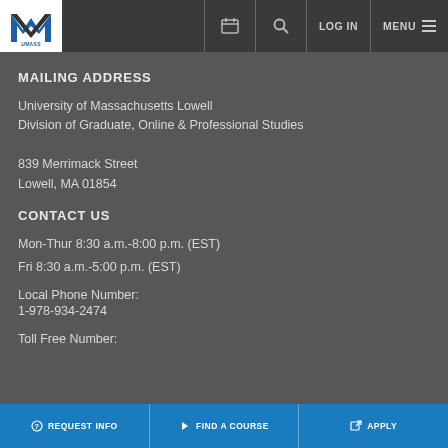[Figure (logo): UMass Lowell logo in top navigation bar]
LOG IN   MENU
MAILING ADDRESS
University of Massachusetts Lowell
Division of Graduate, Online & Professional Studies

839 Merrimack Street
Lowell, MA 01854
CONTACT US
Mon-Thur 8:30 a.m.-8:00 p.m. (EST)
Fri 8:30 a.m.-5:00 p.m. (EST)
Local Phone Number:
1-978-934-2474
Toll Free Number:
REQUEST INFO   FIND A COURSE   APPLY